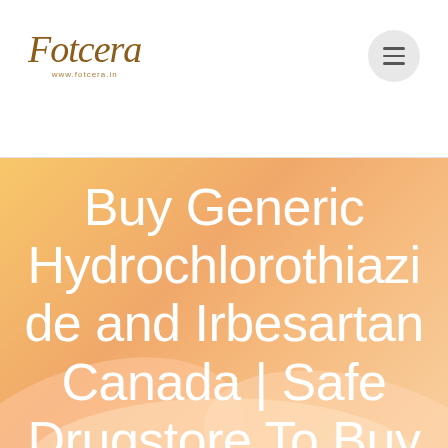Fotcera
Buy Generic Hydrochlorothiazide and Irbesartan Canada | Safe Drugstore To Buy Generics